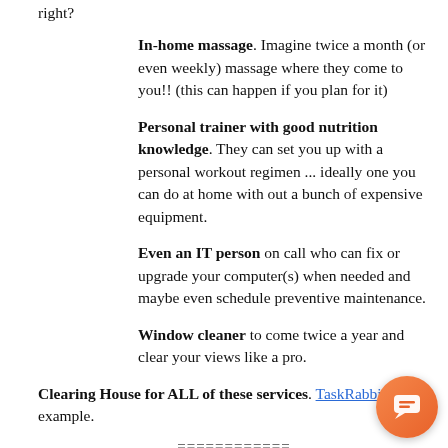right?
In-home massage. Imagine twice a month (or even weekly) massage where they come to you!! (this can happen if you plan for it)
Personal trainer with good nutrition knowledge. They can set you up with a personal workout regimen ... ideally one you can do at home with out a bunch of expensive equipment.
Even an IT person on call who can fix or upgrade your computer(s) when needed and maybe even schedule preventive maintenance.
Window cleaner to come twice a year and clear your views like a pro.
Clearing House for ALL of these services. TaskRabbit is an example.
============
6 Steps to Get Started NOW